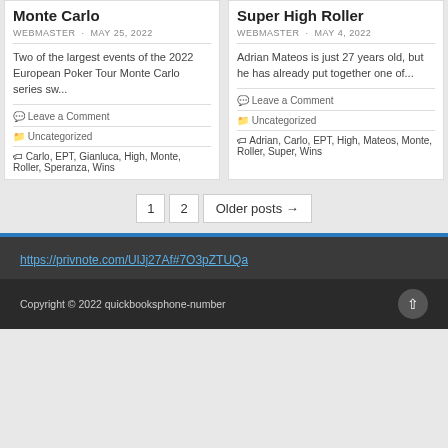Monte Carlo
WEBMASTER · MAY 25, 2022
Two of the largest events of the 2022 European Poker Tour Monte Carlo series sw...
Leave a Comment
Uncategorized
Carlo, EPT, Gianluca, High, Monte, Roller, Speranza, Wins
Super High Roller
WEBMASTER · MAY 4, 2022
Adrian Mateos is just 27 years old, but he has already put together one of...
Leave a Comment
Uncategorized
Adrian, Carlo, EPT, High, Mateos, Monte, Roller, Super, Wins
1  2  Older posts →
https://privnote.com/UlJj27Af#7O3pZTUQa
Copyright © 2022 quickbooksphone-number